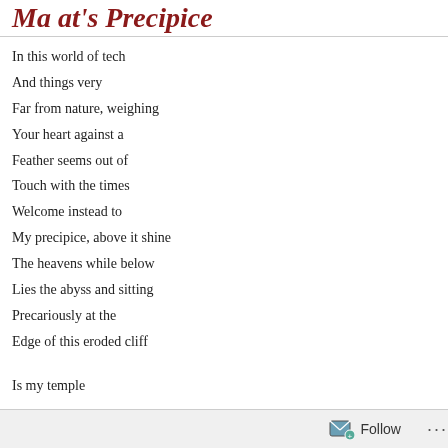Ma at's Precipice
In this world of tech
And things very
Far from nature, weighing
Your heart against a
Feather seems out of
Touch with the times
Welcome instead to
My precipice, above it shine
The heavens while below
Lies the abyss and sitting
Precariously at the
Edge of this eroded cliff

Is my temple
Follow ...